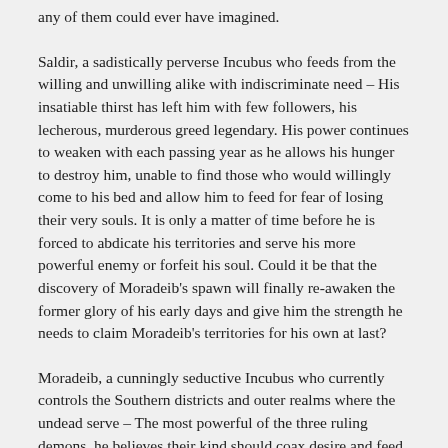any of them could ever have imagined.
Saldir, a sadistically perverse Incubus who feeds from the willing and unwilling alike with indiscriminate need – His insatiable thirst has left him with few followers, his lecherous, murderous greed legendary. His power continues to weaken with each passing year as he allows his hunger to destroy him, unable to find those who would willingly come to his bed and allow him to feed for fear of losing their very souls. It is only a matter of time before he is forced to abdicate his territories and serve his more powerful enemy or forfeit his soul. Could it be that the discovery of Moradeib's spawn will finally re-awaken the former glory of his early days and give him the strength he needs to claim Moradeib's territories for his own at last?
Moradeib, a cunningly seductive Incubus who currently controls the Southern districts and outer realms where the undead serve – The most powerful of the three ruling demons, he believes their kind should coax desire and feed only from the willing. His eager lovers on middle earth number in the hundreds of thousands; hungry, lustful souls who welcome him into their dreams